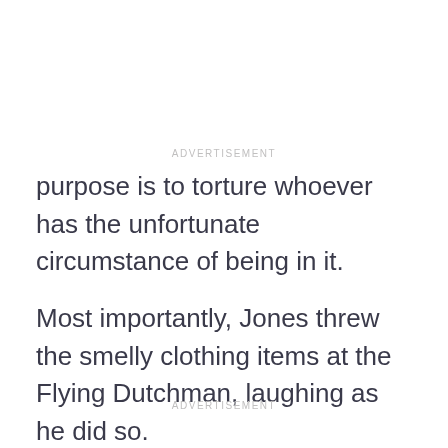ADVERTISEMENT
purpose is to torture whoever has the unfortunate circumstance of being in it.
Most importantly, Jones threw the smelly clothing items at the Flying Dutchman, laughing as he did so.
ADVERTISEMENT